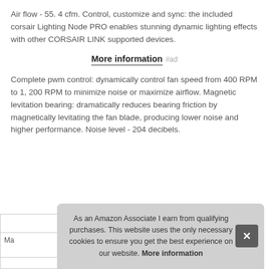Air flow - 55. 4 cfm. Control, customize and sync: the included corsair Lighting Node PRO enables stunning dynamic lighting effects with other CORSAIR LINK supported devices.
More information #ad
Complete pwm control: dynamically control fan speed from 400 RPM to 1, 200 RPM to minimize noise or maximize airflow. Magnetic levitation bearing: dramatically reduces bearing friction by magnetically levitating the fan blade, producing lower noise and higher performance. Noise level - 204 decibels.
As an Amazon Associate I earn from qualifying purchases. This website uses the only necessary cookies to ensure you get the best experience on our website. More information